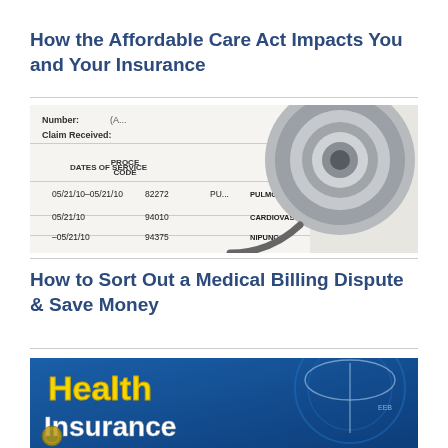How the Affordable Care Act Impacts You and Your Insurance
[Figure (photo): Medical insurance claim form with procedure codes (82272, 94010, 94375) and dates of service (05/21/10-05/21/10), with a stethoscope placed on top of the document. Procedure descriptions include PULMONARY and CARDIOVAS.]
How to Sort Out a Medical Billing Dispute & Save Money
[Figure (photo): Health Insurance promotional graphic with bold yellow text reading 'Health' and white text reading 'Insurance' on a blue background with a medical caduceus symbol (winged staff with snakes).]